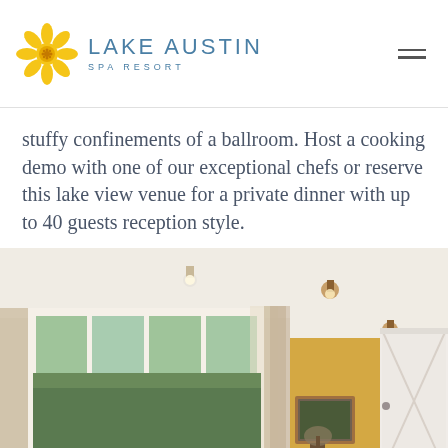Lake Austin Spa Resort
stuffy confinements of a ballroom. Host a cooking demo with one of our exceptional chefs or reserve this lake view venue for a private dinner with up to 40 guests reception style.
[Figure (photo): Interior photo of a bright dining or event room with large white-framed windows, sheer curtains, a yellow accent wall, white barn-style cabinet door, and ceiling lights.]